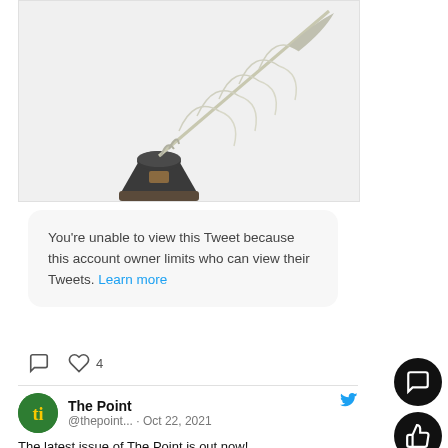[Figure (photo): A white feather quill pen resting in a dark grey/black inkwell with a cork stopper, on a light grey background.]
You’re unable to view this Tweet because this account owner limits who can view their Tweets. Learn more
4
The Point @thepoint... · Oct 22, 2021
The latest issue of The Point is out now!